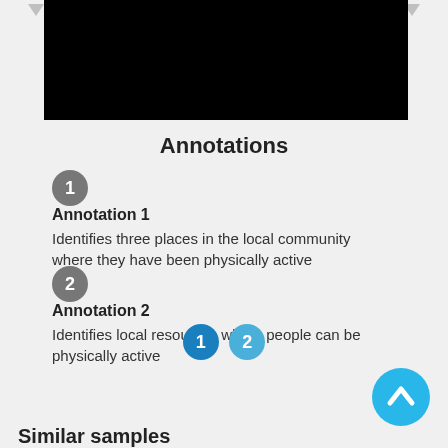[Figure (photo): Black rectangular image area at the top of the page]
Annotations
Annotation 1
Identifies three places in the local community where they have been physically active
Annotation 2
Identifies local resources where people can be physically active
[Figure (infographic): Pagination dots: circle 1 (dark blue/active) and circle 2 (light blue/inactive)]
[Figure (infographic): Back to top button: cyan circle with upward chevron arrow]
Similar samples